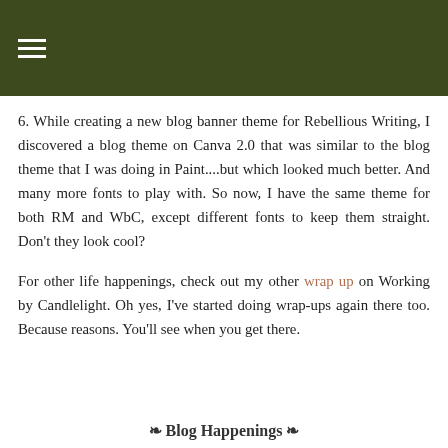≡
6. While creating a new blog banner theme for Rebellious Writing, I discovered a blog theme on Canva 2.0 that was similar to the blog theme that I was doing in Paint....but which looked much better. And many more fonts to play with. So now, I have the same theme for both RM and WbC, except different fonts to keep them straight. Don't they look cool?
For other life happenings, check out my other wrap up on Working by Candlelight. Oh yes, I've started doing wrap-ups again there too. Because reasons. You'll see when you get there.
❧ Blog Happenings ❧